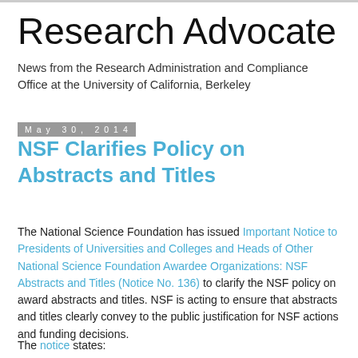Research Advocate
News from the Research Administration and Compliance Office at the University of California, Berkeley
May 30, 2014
NSF Clarifies Policy on Abstracts and Titles
The National Science Foundation has issued Important Notice to Presidents of Universities and Colleges and Heads of Other National Science Foundation Awardee Organizations: NSF Abstracts and Titles (Notice No. 136) to clarify the NSF policy on award abstracts and titles. NSF is acting to ensure that abstracts and titles clearly convey to the public justification for NSF actions and funding decisions.
The notice states: